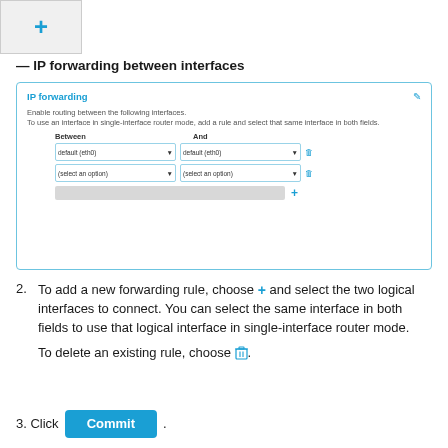[Figure (screenshot): Top UI button showing a blue plus (+) icon in a gray bordered box]
— IP forwarding between interfaces
[Figure (screenshot): IP forwarding dialog panel showing: title 'IP forwarding', edit icon, description text about enabling routing, two rows of Between/And dropdowns (default (eth0) / default (eth0) and (select an option) / (select an option)) each with a trash icon, and a gray bar with a blue plus button.]
To add a new forwarding rule, choose + and select the two logical interfaces to connect. You can select the same interface in both fields to use that logical interface in single-interface router mode.
To delete an existing rule, choose [trash icon].
Click Commit .